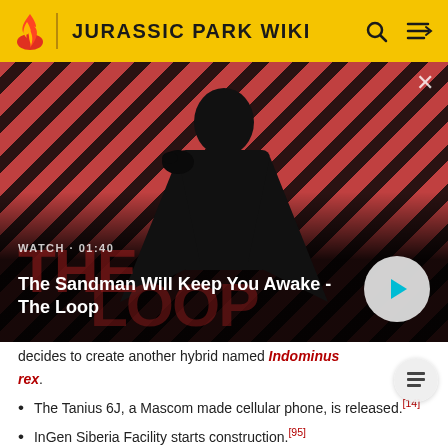JURASSIC PARK WIKI
[Figure (screenshot): Video thumbnail showing a man in dark clothing with a crow on his shoulder against a red and dark striped background. Video title: 'The Sandman Will Keep You Awake - The Loop', duration 01:40, with play button overlay.]
decides to create another hybrid named Indominus rex.
The Tanius 6J, a Mascom made cellular phone, is released.[14]
InGen Siberia Facility starts construction.[95]
The Integrated Behavioral Raptor Intelligence Study